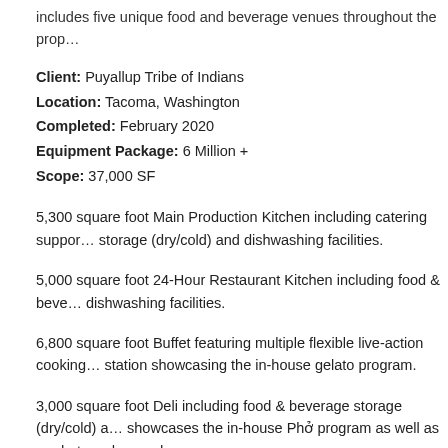includes five unique food and beverage venues throughout the prop…
Client: Puyallup Tribe of Indians
Location: Tacoma, Washington
Completed: February 2020
Equipment Package: 6 Million +
Scope: 37,000 SF
5,300 square foot Main Production Kitchen including catering support, storage (dry/cold) and dishwashing facilities.
5,000 square foot 24-Hour Restaurant Kitchen including food & beve… dishwashing facilities.
6,800 square foot Buffet featuring multiple flexible live-action cooking… station showcasing the in-house gelato program.
3,000 square foot Deli including food & beverage storage (dry/cold) a… showcases the in-house Phở program as well as made-to-order sand…